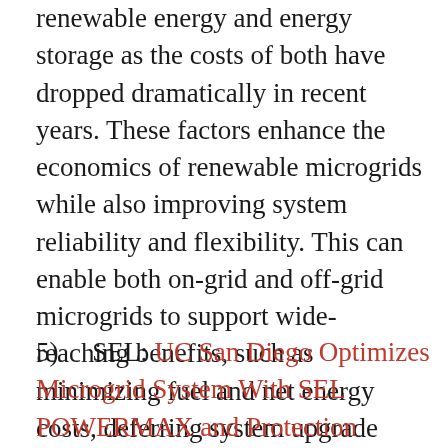renewable energy and energy storage as the costs of both have dropped dramatically in recent years. These factors enhance the economics of renewable microgrids while also improving system reliability and flexibility. This can enable both on-grid and off-grid microgrids to support wide-reaching benefits, such as minimizing fuel and net energy costs, deferring system upgrade investments and reducing peak demand or emissions.
5)    SEL: UC San Diego Optimizes Microgrid System With SEL POWERMAX and Protection Relays